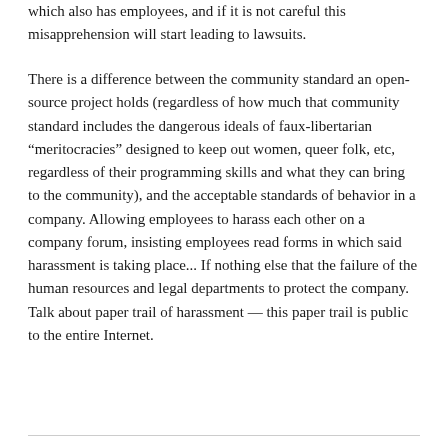which also has employees, and if it is not careful this misapprehension will start leading to lawsuits.
There is a difference between the community standard an open-source project holds (regardless of how much that community standard includes the dangerous ideals of faux-libertarian “meritocracies” designed to keep out women, queer folk, etc, regardless of their programming skills and what they can bring to the community), and the acceptable standards of behavior in a company. Allowing employees to harass each other on a company forum, insisting employees read forms in which said harassment is taking place... If nothing else that the failure of the human resources and legal departments to protect the company. Talk about paper trail of harassment — this paper trail is public to the entire Internet.